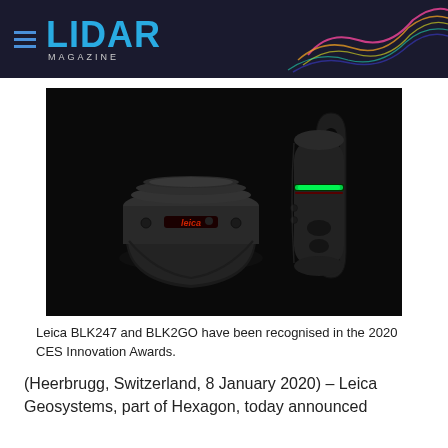LIDAR MAGAZINE
[Figure (photo): Two Leica scanning devices on black background: left is the BLK247 (dome-shaped LiDAR sensor with red Leica logo), right is the BLK2GO (capsule/pill-shaped handheld scanner with green LED ring)]
Leica BLK247 and BLK2GO have been recognised in the 2020 CES Innovation Awards.
(Heerbrugg, Switzerland, 8 January 2020) – Leica Geosystems, part of Hexagon, today announced